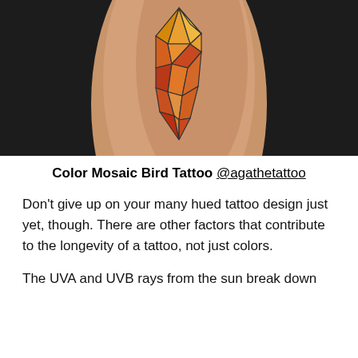[Figure (photo): Close-up photo of a geometric mosaic bird tattoo in warm colors (orange, red, yellow) on a person's skin against a dark background]
Color Mosaic Bird Tattoo @agathetattoo
Don't give up on your many hued tattoo design just yet, though. There are other factors that contribute to the longevity of a tattoo, not just colors.
The UVA and UVB rays from the sun break down